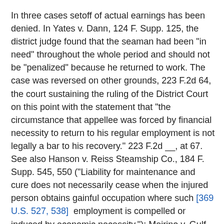In three cases setoff of actual earnings has been denied. In Yates v. Dann, 124 F. Supp. 125, the district judge found that the seaman had been "in need" throughout the whole period and should not be "penalized" because he returned to work. The case was reversed on other grounds, 223 F.2d 64, the court sustaining the ruling of the District Court on this point with the statement that "the circumstance that appellee was forced by financial necessity to return to his regular employment is not legally a bar to his recovery." 223 F.2d __, at 67. See also Hanson v. Reiss Steamship Co., 184 F. Supp. 545, 550 ("Liability for maintenance and cure does not necessarily cease when the injured person obtains gainful occupation where such [369 U.S. 527, 538]  employment is compelled or induced by economic necessity."); Meirino v. Gulf Oil Corp., 170 F. Supp. 515, 517 ("The fact that libellant returned to work because of economic necessity while he was in need of medical care and attention does not deprive